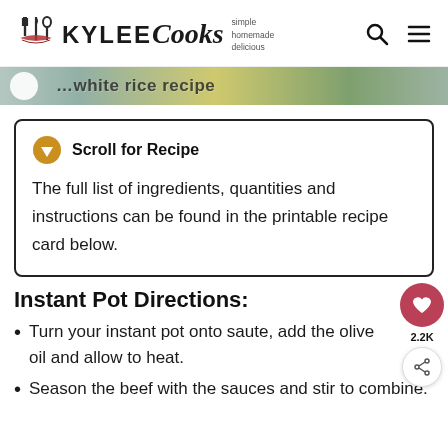KYLEE Cooks — simple homemade delicious
... white rice recipe
Scroll for Recipe
The full list of ingredients, quantities and instructions can be found in the printable recipe card below.
Instant Pot Directions:
Turn your instant pot onto saute, add the olive oil and allow to heat.
(cut off at bottom)